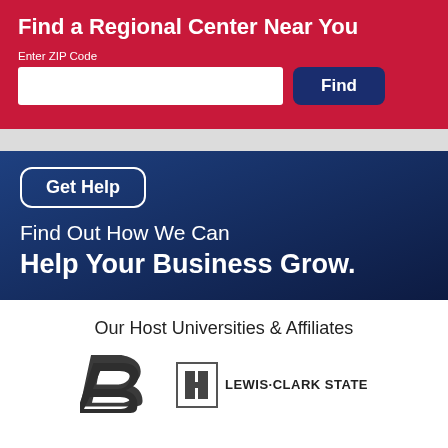Find a Regional Center Near You
Enter ZIP Code
[Figure (screenshot): ZIP code input field (white rectangle) and a dark blue Find button]
[Figure (screenshot): Dark blue gradient banner with Get Help rounded button, text: Find Out How We Can Help Your Business Grow.]
Find Out How We Can
Help Your Business Grow.
Our Host Universities & Affiliates
[Figure (logo): Boise State University bold italic B logo in dark gray]
[Figure (logo): Lewis-Clark State College logo with icon and text LEWIS-CLARK STATE]